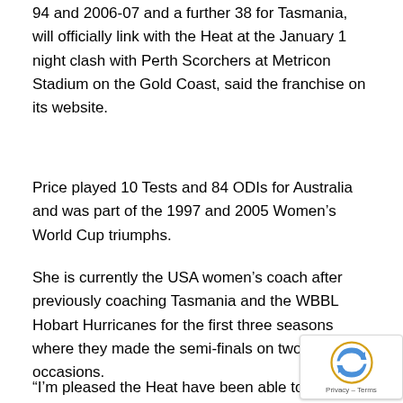94 and 2006-07 and a further 38 for Tasmania, will officially link with the Heat at the January 1 night clash with Perth Scorchers at Metricon Stadium on the Gold Coast, said the franchise on its website.
Price played 10 Tests and 84 ODIs for Australia and was part of the 1997 and 2005 Women’s World Cup triumphs.
She is currently the USA women’s coach after previously coaching Tasmania and the WBBL Hobart Hurricanes for the first three seasons where they made the semi-finals on two occasions.
“I’m pleased the Heat have been able to go in a direction that we haven’t seen yet in the BBL in having a woman on the coaching staff, but I don’t believe it will be the last time it happens either. Hopefully, this works well for ‘Pricey’ and assists her with her role with USA Cricket in the future,” said